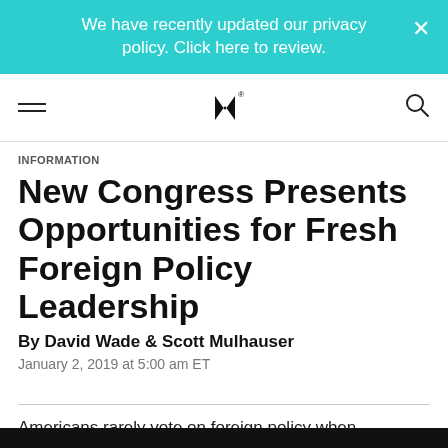We have recently updated our privacy policy. Click here to review.
[Figure (logo): MK publication logo — stylized M and K chevron mark with registered trademark symbol]
INFORMATION
New Congress Presents Opportunities for Fresh Foreign Policy Leadership
By David Wade & Scott Mulhauser
January 2, 2019 at 5:00 am ET
Americans rarely vote on foreign policy when